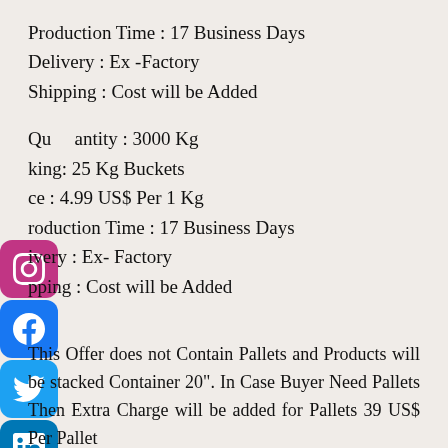Production Time : 17 Business Days
Delivery : Ex -Factory
Shipping : Cost will be Added
Quantity : 3000 Kg
Packing: 25 Kg Buckets
Price : 4.99 US$ Per 1 Kg
Production Time : 17 Business Days
Delivery : Ex- Factory
Shipping : Cost will be Added
This Offer does not Contain Pallets and Products will be stacked Container 20". In Case Buyer Need Pallets Then Extra Charge will be added for Pallets 39 US$ Per Pallet
For Larger Offers Please Visit
Storage: Dead Sea Bath Salts is available in " 55 lb. " 25Kg Bags for Moisture Protection, to avoid caking, salts products